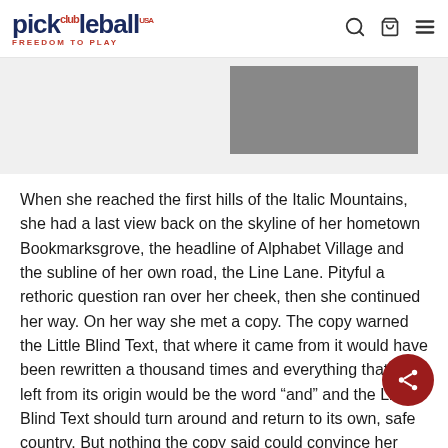pickleball club USA FREEDOM TO PLAY
[Figure (photo): Partial gray rectangle image visible at top center of page, likely a product or scene photo cropped at top]
When she reached the first hills of the Italic Mountains, she had a last view back on the skyline of her hometown Bookmarksgrove, the headline of Alphabet Village and the subline of her own road, the Line Lane. Pityful a rethoric question ran over her cheek, then she continued her way. On her way she met a copy. The copy warned the Little Blind Text, that where it came from it would have been rewritten a thousand times and everything that was left from its origin would be the word “and” and the Little Blind Text should turn around and return to its own, safe country. But nothing the copy said could convince her and so it didn’t take long until a few insidious C